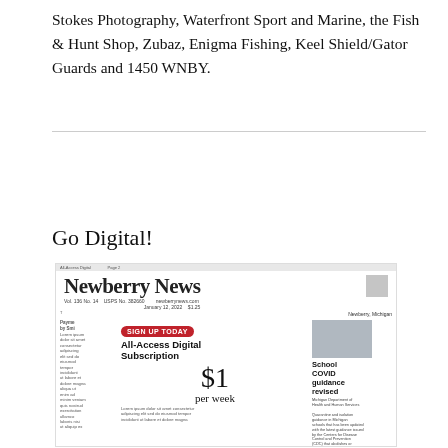Stokes Photography, Waterfront Sport and Marine, the Fish & Hunt Shop, Zubaz, Enigma Fishing, Keel Shield/Gator Guards and 1450 WNBY.
Go Digital!
[Figure (screenshot): A screenshot of the Newberry News newspaper front page with a 'Sign Up Today' red pill button, 'All-Access Digital Subscription' text, '$1 per week' offer, and a headline 'School COVID guidance revised']